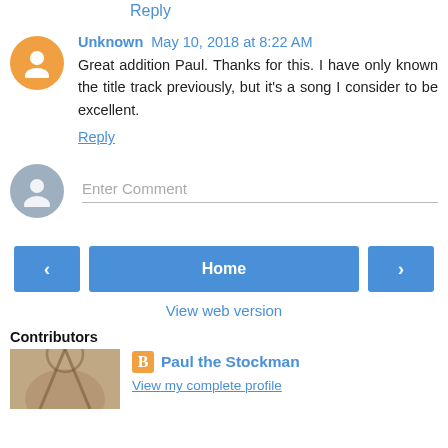Reply
Unknown  May 10, 2018 at 8:22 AM
Great addition Paul. Thanks for this. I have only known the title track previously, but it's a song I consider to be excellent.
Reply
Enter Comment
Home
View web version
Contributors
Paul the Stockman
View my complete profile